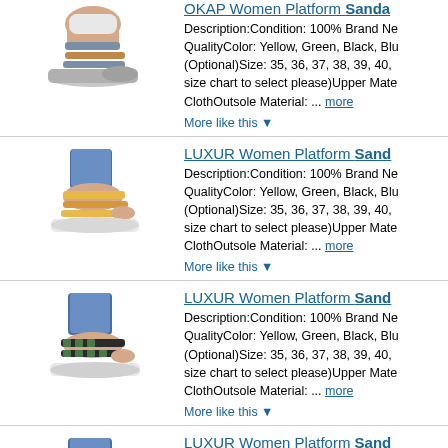[Figure (photo): Platform sandal shoe product image - colorful strappy sandal]
OKAP Women Platform Sandals...
Description:Condition: 100% Brand New QualityColor: Yellow, Green, Black, Blu (Optional)Size: 35, 36, 37, 38, 39, 40, size chart to select please)Upper Mate ClothOutsole Material: ... more
More like this ▼
[Figure (photo): LUXUR Women Platform Sandals product image - yellow sandal with jeans]
LUXUR Women Platform Sandals...
Description:Condition: 100% Brand New QualityColor: Yellow, Green, Black, Blu (Optional)Size: 35, 36, 37, 38, 39, 40, size chart to select please)Upper Mate ClothOutsole Material: ... more
More like this ▼
[Figure (photo): LUXUR Women Platform Sandals product image - dark striped sandal with jeans]
LUXUR Women Platform Sandals...
Description:Condition: 100% Brand New QualityColor: Yellow, Green, Black, Blu (Optional)Size: 35, 36, 37, 38, 39, 40, size chart to select please)Upper Mate ClothOutsole Material: ... more
More like this ▼
[Figure (photo): LUXUR Women Platform Sandals product image - yellow sandal with jeans]
LUXUR Women Platform Sandals...
Description:Condition: 100% Brand New QualityColor: Yellow, Green, Black, Blu (Optional)Size: 35, 36, 37, 38, 39, 40, size chart to select please)Upper Mate